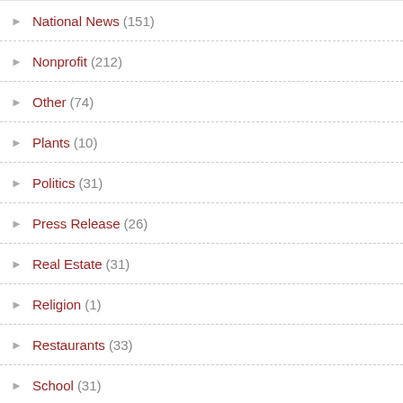National News (151)
Nonprofit (212)
Other (74)
Plants (10)
Politics (31)
Press Release (26)
Real Estate (31)
Religion (1)
Restaurants (33)
School (31)
Science (2)
SDCC (4)
Seniors (18)
Sponsored Post (3)
Sports (17)
Students (50)